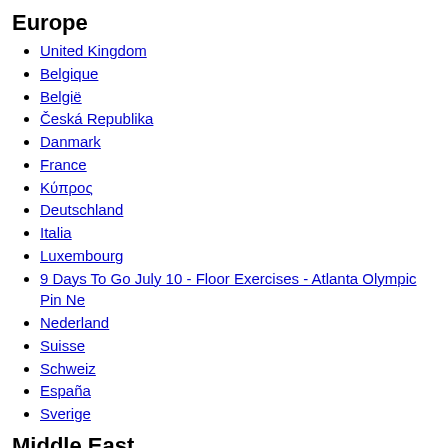Europe
United Kingdom
Belgique
België
Česká Republika
Danmark
France
Κύπρος
Deutschland
Italia
Luxembourg
9 Days To Go July 10 - Floor Exercises - Atlanta Olympic Pin Ne
Nederland
Suisse
Schweiz
España
Sverige
Middle East
Bahrain
Kuwait